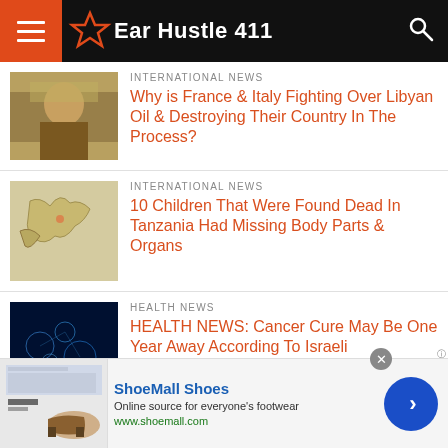Ear Hustle 411
INTERNATIONAL NEWS
Why is France & Italy Fighting Over Libyan Oil & Destroying Their Country In The Process?
INTERNATIONAL NEWS
10 Children That Were Found Dead In Tanzania Had Missing Body Parts & Organs
HEALTH NEWS
HEALTH NEWS: Cancer Cure May Be One Year Away According To Israeli
[Figure (screenshot): ShoeMall Shoes advertisement banner with shoe image, title, description and URL]